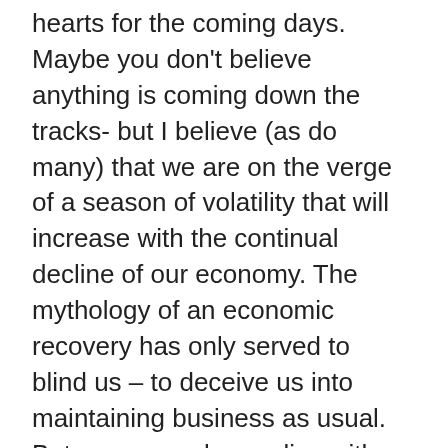hearts for the coming days. Maybe you don't believe anything is coming down the tracks- but I believe (as do many) that we are on the verge of a season of volatility that will increase with the continual decline of our economy. The mythology of an economic recovery has only served to blind us – to deceive us into maintaining business as usual. But we can no longer live with a blind eye toward the horizon. It's time to seek insight and discernment from the Holy Spirit. In times of crisis the reality of our faith is tested. If we encounter hardship and suffering will we be offended at GOD- or will we trust Him and continually 'put His words into practice'? Will we be people of love and peace and mercy-